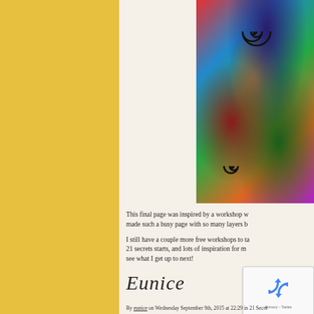[Figure (illustration): Colorful mixed-media art journal page with spiral motifs, layered paint, flowers, and abstract elements, shown in a spiral-bound notebook. The artwork features swirling black spirals, vivid colors including red, blue, green, yellow, and purple, with intricate layered patterns.]
This final page was inspired by a workshop w... made such a busy page with so many layers b...
I still have a couple more free workshops to ta... 21 secrets starts, and lots of inspiration for m... see what I get up to next!
[Figure (illustration): Handwritten cursive signature reading 'Eunice']
[Figure (other): reCAPTCHA widget showing recycling arrows icon with Privacy - Terms text]
By eunice on Wednesday September 9th, 2015 at 22:29 in 21 Secre...